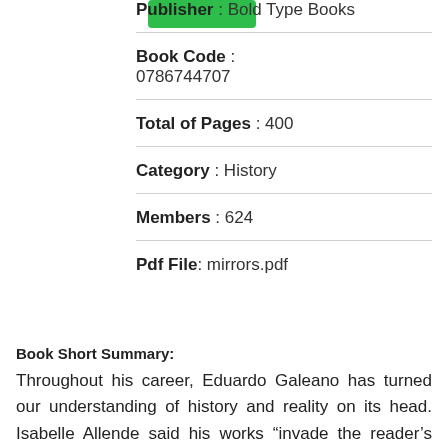[Figure (other): Green button/badge in upper left area]
Publisher : Bold Type Books
Book Code : 0786744707
Total of Pages : 400
Category : History
Members : 624
Pdf File: mirrors.pdf
Book Short Summary:
Throughout his career, Eduardo Galeano has turned our understanding of history and reality on its head. Isabelle Allende said his works "invade the reader's mind, to persuade him or